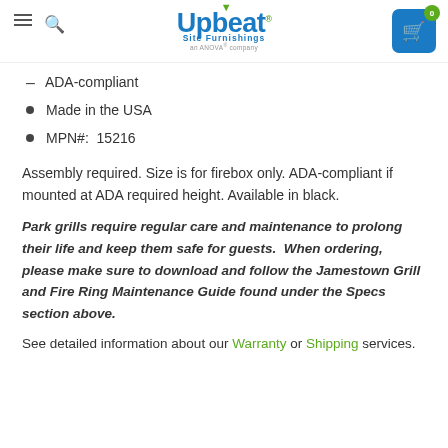Upbeat Site Furnishings — an ANOVA® company
ADA-compliant
Made in the USA
MPN#:  15216
Assembly required. Size is for firebox only. ADA-compliant if mounted at ADA required height. Available in black.
Park grills require regular care and maintenance to prolong their life and keep them safe for guests.  When ordering, please make sure to download and follow the Jamestown Grill and Fire Ring Maintenance Guide found under the Specs section above.
See detailed information about our Warranty or Shipping services.